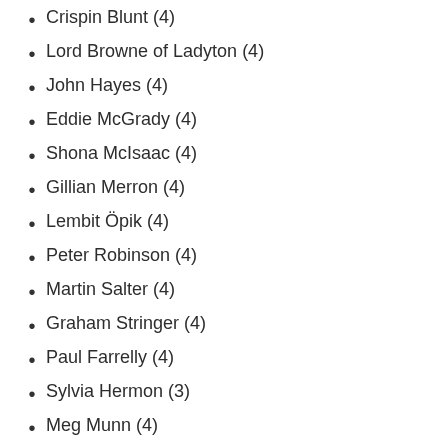Crispin Blunt (4)
Lord Browne of Ladyton (4)
John Hayes (4)
Eddie McGrady (4)
Shona McIsaac (4)
Gillian Merron (4)
Lembit Öpik (4)
Peter Robinson (4)
Martin Salter (4)
Graham Stringer (4)
Paul Farrelly (4)
Sylvia Hermon (3)
Meg Munn (4)
James Purnell (4)
Hugh Robertson (4)
Andrew Turner (4)